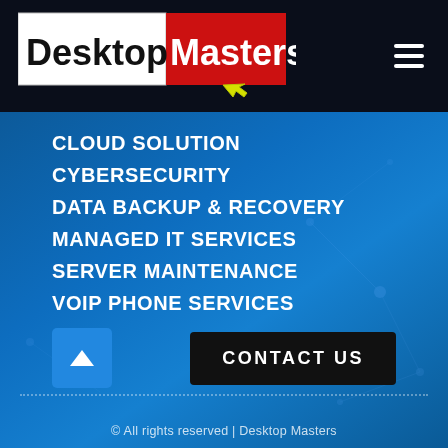[Figure (logo): Desktop Masters logo: white/black left half with 'Desktop' in bold serif, red right half with 'Masters' in white, yellow cursor arrow below]
CLOUD SOLUTION
CYBERSECURITY
DATA BACKUP & RECOVERY
MANAGED IT SERVICES
SERVER MAINTENANCE
VOIP PHONE SERVICES
CONTACT US
© All rights reserved | Desktop Masters